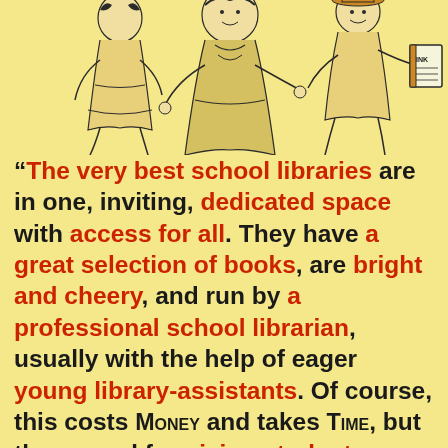[Figure (illustration): Vintage line drawing illustration of figures (students/librarians) on a yellow background, partially cropped at the top of the page. A figure on the right holds a book labeled 'INK'.]
“The very best school libraries are in one, inviting, dedicated space with access for all. They have a great selection of books, are bright and cheery, and run by a professional school librarian, usually with the help of eager young library-assistants. Of course, this costs MONEY and takes TIME, but the reward for giving students a better chance in life is PROVEN. Not every school can have all these things at once but let’s fight to